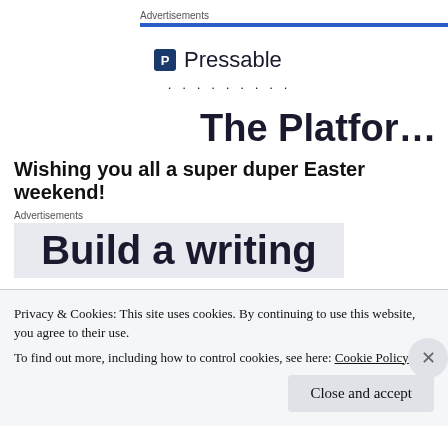Advertisements
[Figure (logo): Pressable logo with icon and name, followed by dots and partial 'The Platform' heading]
Wishing you all a super duper Easter weekend!
Advertisements
[Figure (screenshot): Partial advertisement banner showing 'Build a writing' text]
Privacy & Cookies: This site uses cookies. By continuing to use this website, you agree to their use.
To find out more, including how to control cookies, see here: Cookie Policy
Close and accept